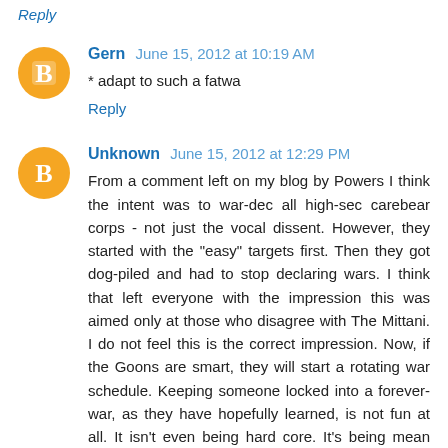Reply
Gern  June 15, 2012 at 10:19 AM
* adapt to such a fatwa
Reply
Unknown  June 15, 2012 at 12:29 PM
From a comment left on my blog by Powers I think the intent was to war-dec all high-sec carebear corps - not just the vocal dissent. However, they started with the "easy" targets first. Then they got dog-piled and had to stop declaring wars. I think that left everyone with the impression this was aimed only at those who disagree with The Mittani. I do not feel this is the correct impression. Now, if the Goons are smart, they will start a rotating war schedule. Keeping someone locked into a forever-war, as they have hopefully learned, is not fun at all. It isn't even being hard core. It's being mean like torturing puppies. Perhaps they are correct saying high-sec carebears need a